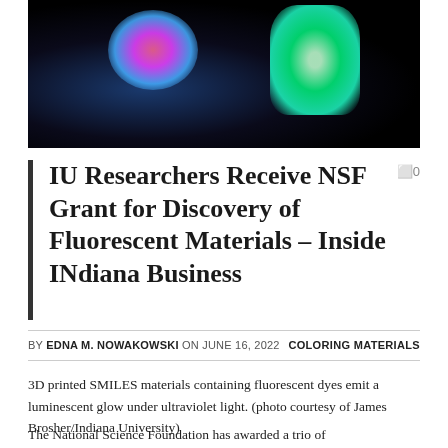[Figure (photo): 3D printed SMILES materials containing fluorescent dyes glowing under ultraviolet light — pink/blue object on left and green object on right against black background]
IU Researchers Receive NSF Grant for Discovery of Fluorescent Materials – Inside INdiana Business
BY EDNA M. NOWAKOWSKI ON JUNE 16, 2022   COLORING MATERIALS
3D printed SMILES materials containing fluorescent dyes emit a luminescent glow under ultraviolet light. (photo courtesy of James Brosher/Indiana University)
The National Science Foundation has awarded a trio of